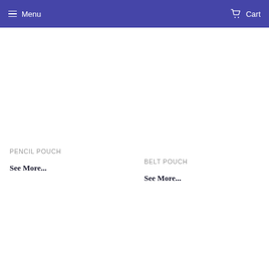Menu  Cart
PENCIL POUCH
See More...
BELT POUCH
See More...